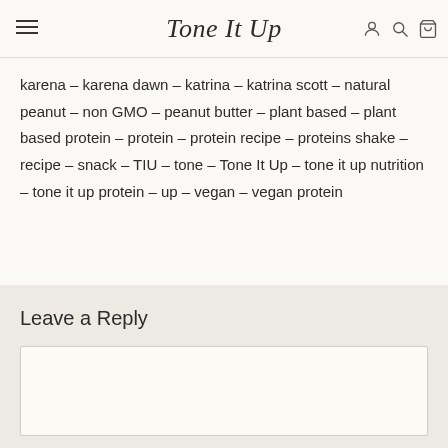Tone It Up
karena – karena dawn – katrina – katrina scott – natural peanut – non GMO – peanut butter – plant based – plant based protein – protein – protein recipe – proteins shake – recipe – snack – TIU – tone – Tone It Up – tone it up nutrition – tone it up protein – up – vegan – vegan protein
Leave a Reply